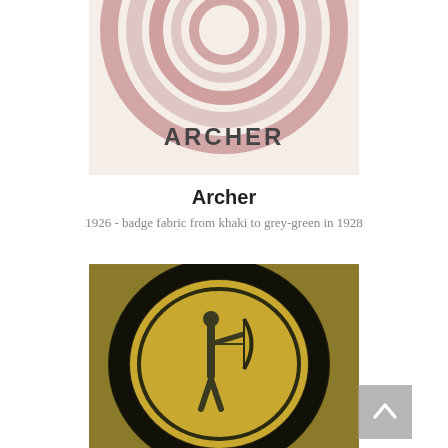[Figure (photo): Close-up photograph of an 'ARCHER' merit badge with concentric circles pattern in khaki/cream fabric with dark red/brown markings and text 'ARCHER' at the bottom]
Archer
1926 - badge fabric from khaki to grey-green in 1928
[Figure (photo): Close-up photograph of an Archer merit badge on khaki/olive fabric showing a circular badge with dark border and a figure of an archer embroidered in yellow/olive thread]